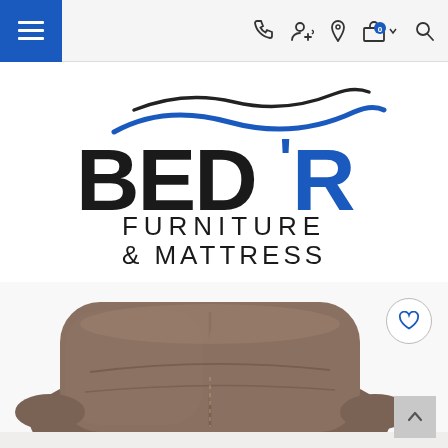Navigation bar with hamburger menu, phone, account, location, cart (0), and search icons
[Figure (logo): BED'R Furniture & Mattress logo with wave graphics above the text. 'BED'R' in large bold black and blue lettering, 'FURNITURE & MATTRESS' in dark sans-serif below.]
[Figure (photo): Close-up photo of a brown/taupe cushioned recliner chair, showing the padded back and armrest.]